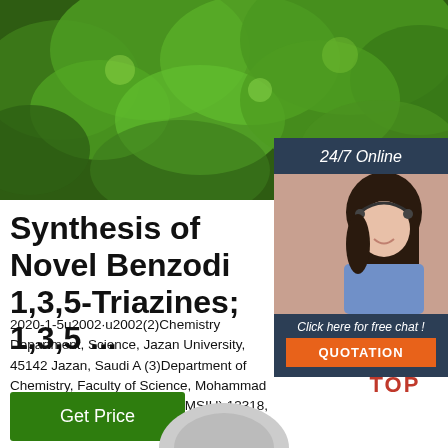[Figure (photo): Green tree canopy photo used as hero background image]
24/7 Online
[Figure (photo): Customer service representative woman with headset smiling, sidebar advertisement]
Click here for free chat !
QUOTATION
Synthesis of Novel Benzodi 1,3,5-Triazines; 1,3,5 ...
2020-1-5u2002·u2002(2)Chemistry Department, Science, Jazan University, 45142 Jazan, Saudi A (3)Department of Chemistry, Faculty of Science, Mohammad Ibn Saud Islamic University (IMSIU) 13318, Saudi Arabia.
Get Price
[Figure (logo): TOP logo with orange/red dots arranged in triangle above the word TOP in red]